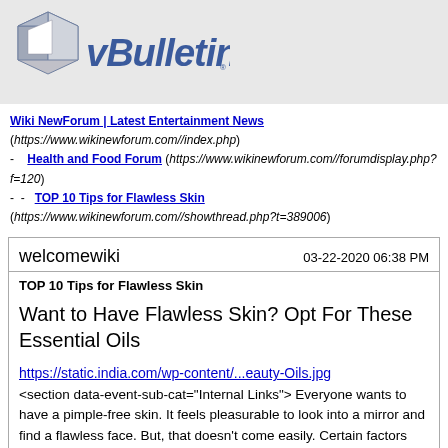[Figure (logo): vBulletin logo with stylized cube icon and italic blue text]
Wiki NewForum | Latest Entertainment News (https://www.wikinewforum.com//index.php)
- Health and Food Forum (https://www.wikinewforum.com//forumdisplay.php?f=120)
- - TOP 10 Tips for Flawless Skin (https://www.wikinewforum.com//showthread.php?t=389006)
welcomewiki   03-22-2020 06:38 PM
TOP 10 Tips for Flawless Skin
Want to Have Flawless Skin? Opt For These Essential Oils
https://static.india.com/wp-content/...eauty-Oils.jpg
<section data-event-sub-cat="Internal Links"> Everyone wants to have a pimple-free skin. It feels pleasurable to look into a mirror and find a flawless face. But, that doesn't come easily. Certain factors and lifestyle habits like exposure to